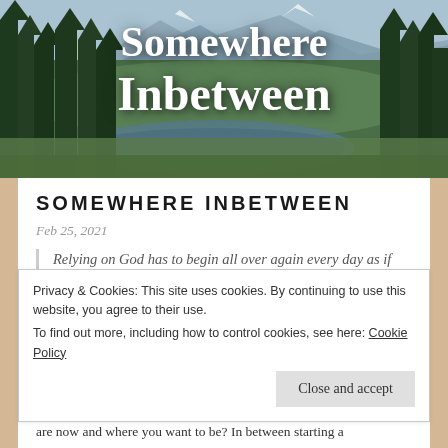[Figure (photo): Mountain landscape with snow-capped peaks, evergreen trees on left, a calm lake or pond in the foreground, lush green meadow, overcast sky]
Somewhere Inbetween
SOMEWHERE INBETWEEN
Feb 25, 2021
Relying on God has to begin all over again every day as if
Privacy & Cookies: This site uses cookies. By continuing to use this website, you agree to their use.
To find out more, including how to control cookies, see here: Cookie Policy
Close and accept
are now and where you want to be? In between starting a